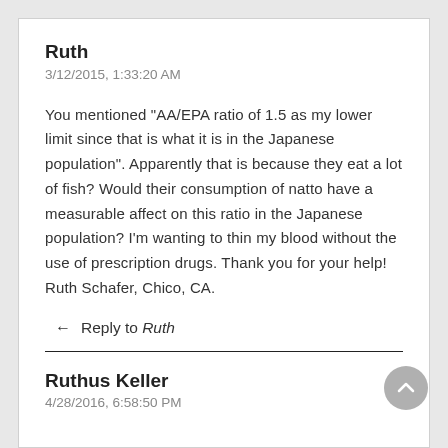Ruth
3/12/2015, 1:33:20 AM
You mentioned "AA/EPA ratio of 1.5 as my lower limit since that is what it is in the Japanese population". Apparently that is because they eat a lot of fish? Would their consumption of natto have a measurable affect on this ratio in the Japanese population? I'm wanting to thin my blood without the use of prescription drugs. Thank you for your help! Ruth Schafer, Chico, CA.
↩ Reply to Ruth
Ruthus Keller
4/28/2016, 6:58:50 PM